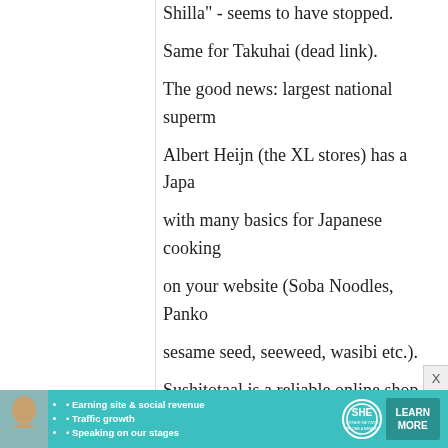Shilla" - seems to have stopped.
Same for Takuhai (dead link).
The good news: largest national superm...
Albert Heijn (the XL stores) has a Japa...
with many basics for Japanese cooking...
on your website (Soba Noodles, Panko...
sesame seed, seeweed, wasibi etc.).
Sushitotaal is a reliable online shop
http://www.sushitotaal.nl/
Large Asian supermarket in Eindhoven...
for Japanese food
http://www.amazingoriental.com/...
[Figure (infographic): SHE Partner Network advertisement banner with a woman photo, bullet points about earning site & social revenue, traffic growth, speaking on stages, SHE logo, and LEARN MORE button]